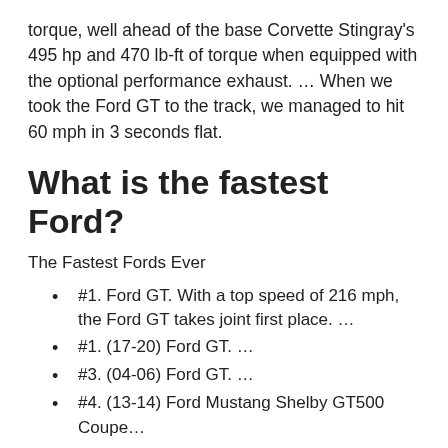torque, well ahead of the base Corvette Stingray's 495 hp and 470 lb-ft of torque when equipped with the optional performance exhaust. … When we took the Ford GT to the track, we managed to hit 60 mph in 3 seconds flat.
What is the fastest Ford?
The Fastest Fords Ever
#1. Ford GT. With a top speed of 216 mph, the Ford GT takes joint first place. …
#1. (17-20) Ford GT. …
#3. (04-06) Ford GT. …
#4. (13-14) Ford Mustang Shelby GT500 Coupe…